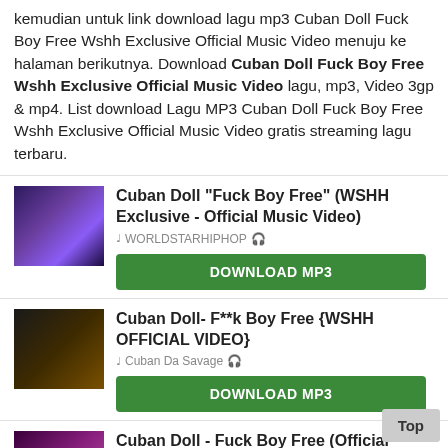kemudian untuk link download lagu mp3 Cuban Doll Fuck Boy Free Wshh Exclusive Official Music Video menuju ke halaman berikutnya. Download Cuban Doll Fuck Boy Free Wshh Exclusive Official Music Video lagu, mp3, Video 3gp & mp4. List download Lagu MP3 Cuban Doll Fuck Boy Free Wshh Exclusive Official Music Video gratis streaming lagu terbaru.
Cuban Doll "Fuck Boy Free" (WSHH Exclusive - Official Music Video) — WORLDSTARHIPHOP — DOWNLOAD MP3
Cuban Doll- F**k Boy Free {WSHH OFFICIAL VIDEO} — Cuban Da Savage — DOWNLOAD MP3
Cuban Doll - Fuck Boy Free (Official Video) — Tadoe Da Savage — DOWNLOAD MP3